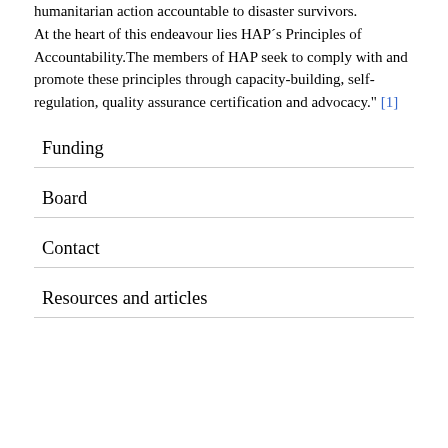humanitarian action accountable to disaster survivors. At the heart of this endeavour lies HAP´s Principles of Accountability.The members of HAP seek to comply with and promote these principles through capacity-building, self-regulation, quality assurance certification and advocacy." [1]
Funding
Board
Contact
Resources and articles